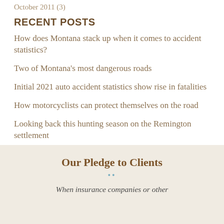October 2011 (3)
RECENT POSTS
How does Montana stack up when it comes to accident statistics?
Two of Montana's most dangerous roads
Initial 2021 auto accident statistics show rise in fatalities
How motorcyclists can protect themselves on the road
Looking back this hunting season on the Remington settlement
Our Pledge to Clients
When insurance companies or other